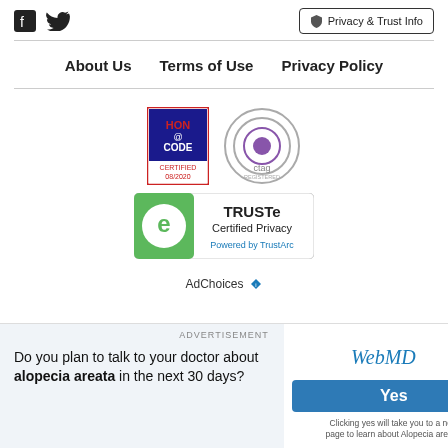[Figure (logo): Facebook and Twitter social media icons]
[Figure (logo): Privacy and Trust Info button with shield icon]
About Us   Terms of Use   Privacy Policy
[Figure (logo): HON Code Certified 08/2020 badge and TAG Registered logo]
[Figure (logo): TRUSTe Certified Privacy Powered by TrustArc badge]
AdChoices
[Figure (other): Back to top arrow button]
ADVERTISEMENT
Do you plan to talk to your doctor about alopecia areata in the next 30 days?
[Figure (logo): WebMD logo]
Yes
Clicking yes will take you to a new page to learn about Alopecia areata.